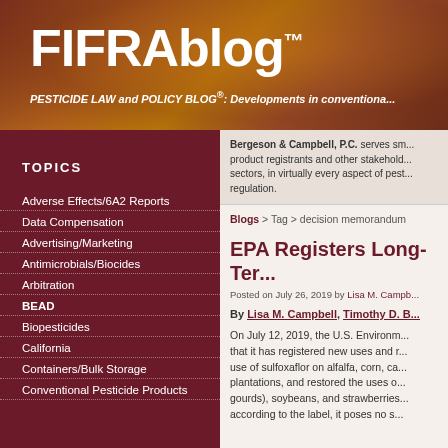FIFRAblog™
PESTICIDE LAW and POLICY BLOG®: Developments in conventional...
TOPICS
Adverse Effects/6A2 Reports
Data Compensation
Advertising/Marketing
Antimicrobials/Biocides
Arbitration
BEAD
Biopesticides
California
Containers/Bulk Storage
Conventional Pesticide Products
Bergeson & Campbell, P.C. serves sm... product registrants and other stakehold... sectors, in virtually every aspect of pest... regulation.
Blogs > Tag > decision memorandum
EPA Registers Long-Te...
Posted on July 26, 2019 by Lisa M. Campb...
By Lisa M. Campbell, Timothy D. B...
On July 12, 2019, the U.S. Environm... that it has registered new uses and r... use of sulfoxaflor on alfalfa, corn, ca... plantations, and restored the uses o... gourds), soybeans, and strawberries... according to the label, it poses no s...